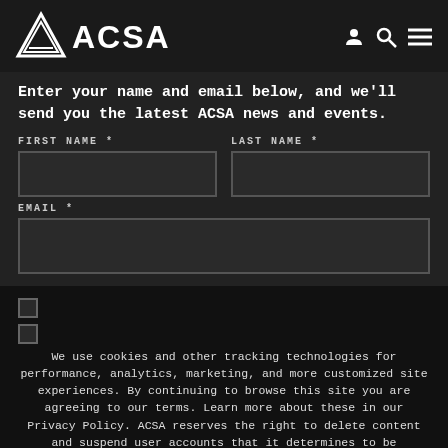ACSA logo and navigation icons
Enter your name and email below, and we'll send you the latest ACSA news and events.
FIRST NAME *
LAST NAME *
EMAIL *
We use cookies and other tracking technologies for performance, analytics, marketing, and more customized site experiences. By continuing to browse this site you are agreeing to our terms. Learn more about these in our Privacy Policy. ACSA reserves the right to delete content and suspend user accounts that it determines to be inappropriate.
OK
Learn more
Social media icons: Facebook, Instagram, Twitter, LinkedIn